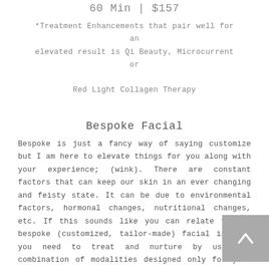60 Min | $157
*Treatment Enhancements that pair well for an elevated result is Qi Beauty, Microcurrent or Red Light Collagen Therapy
Bespoke Facial
Bespoke is just a fancy way of saying customize but I am here to elevate things for you along with your experience; (wink). There are constant factors that can keep our skin in an ever changing and feisty state. It can be due to environmental factors, hormonal changes, nutritional changes, etc. If this sounds like you can relate then a bespoke (customized, tailor-made) facial is what you need to treat and nurture by using a combination of modalities designed only for your skin.